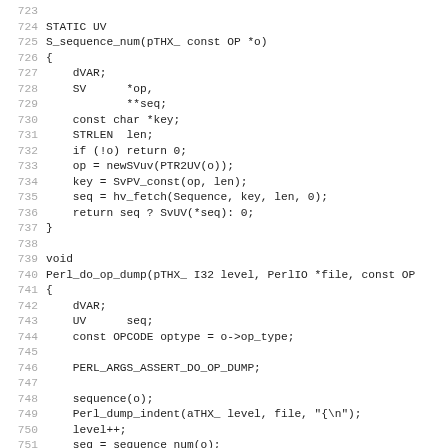Source code listing lines 723-754 showing C functions S_sequence_num and Perl_do_op_dump